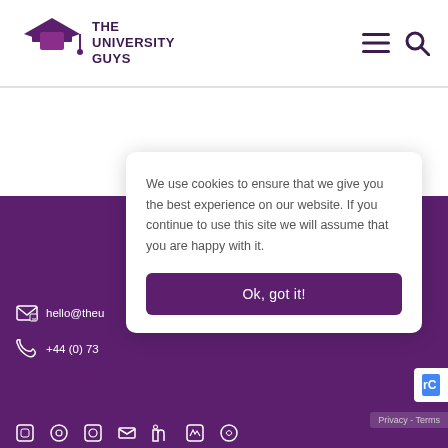THE UNIVERSITY GUYS
We use cookies to ensure that we give you the best experience on our website. If you continue to use this site we will assume that you are happy with it.
Ok, got it!
hello@theu
+44 (0) 73
Privacy - Terms